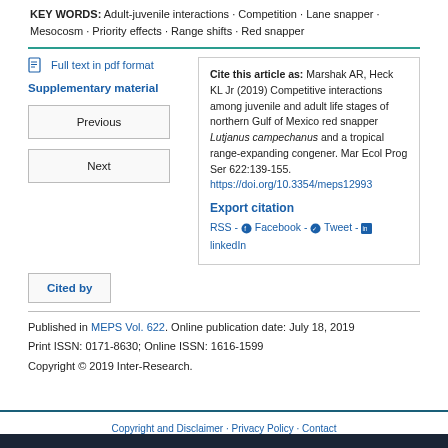KEY WORDS: Adult-juvenile interactions · Competition · Lane snapper · Mesocosm · Priority effects · Range shifts · Red snapper
Full text in pdf format
Supplementary material
Previous
Next
Cite this article as: Marshak AR, Heck KL Jr (2019) Competitive interactions among juvenile and adult life stages of northern Gulf of Mexico red snapper Lutjanus campechanus and a tropical range-expanding congener. Mar Ecol Prog Ser 622:139-155. https://doi.org/10.3354/meps12993
Export citation
RSS - Facebook - Tweet - linkedIn
Cited by
Published in MEPS Vol. 622. Online publication date: July 18, 2019
Print ISSN: 0171-8630; Online ISSN: 1616-1599
Copyright © 2019 Inter-Research.
Copyright and Disclaimer · Privacy Policy · Contact